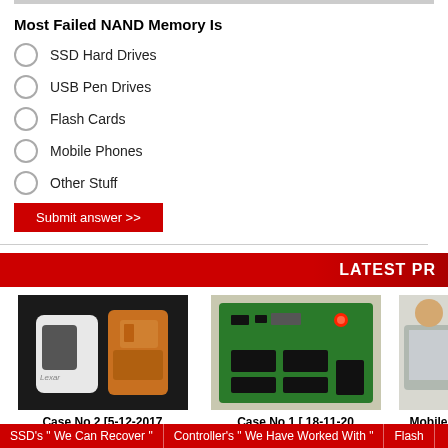Most Failed NAND Memory Is
SSD Hard Drives
USB Pen Drives
Flash Cards
Mobile Phones
Other Stuff
Submit answer >>
LATEST PR
[Figure (photo): Disassembled USB flash drive showing orange casing and Lexar branded white device]
Case No 2 [5-12-2017
[Figure (photo): Green PCB circuit board with black components and a red LED light]
Case No 1 [ 18-11-20
[Figure (photo): Person partially visible on right side]
Mobile
SSD's " We Can Recover " | Controller's " We Have Worked With " | Flash